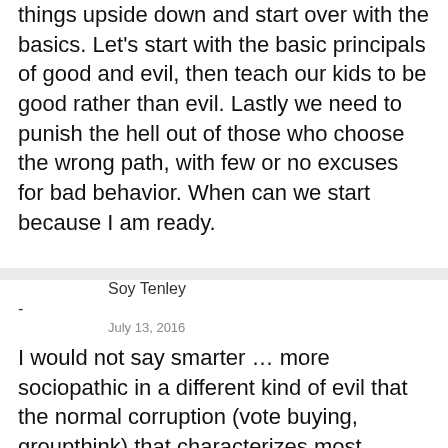things upside down and start over with the basics. Let’s start with the basic principals of good and evil, then teach our kids to be good rather than evil. Lastly we need to punish the hell out of those who choose the wrong path, with few or no excuses for bad behavior. When can we start because I am ready.
Soy Tenley
-
July 13, 2016
I would not say smarter … more sociopathic in a different kind of evil that the normal corruption (vote buying, groupthink) that characterizes most politicians. As for the judicial system … every one of this jerk’s criminal actions should result in a sentence independent of the other sentences. The first goal of incarceration is to get the criminal away from the rest of us so those who were harmed can recover, and the